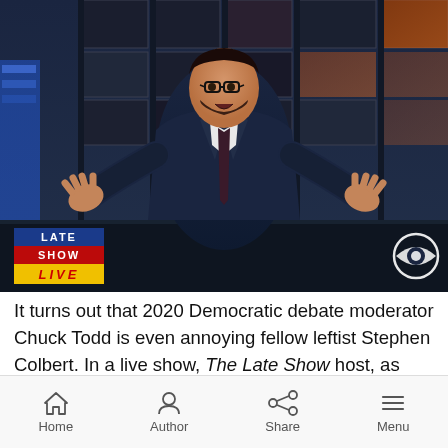[Figure (photo): Screenshot from The Late Show with Stephen Colbert (Live), showing a man in a dark navy suit with glasses, standing with hands outstretched in a shrug gesture on the Late Show set. The Late Show LIVE logo is in the lower left, and the CBS eye logo is in the lower right.]
It turns out that 2020 Democratic debate moderator Chuck Todd is even annoying fellow leftist Stephen Colbert. In a live show, The Late Show host, as well as guest Chris Christie, mercilessly mocked Todd for his pomposity. Christie berated the journalist as a
Home  Author  Share  Menu